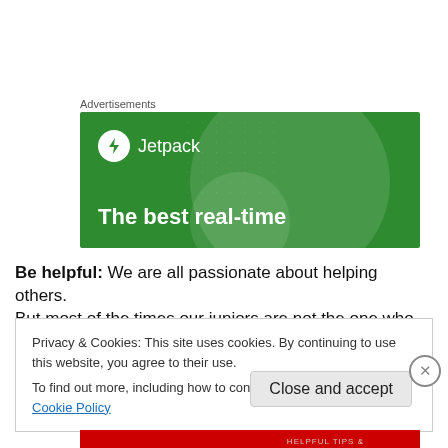Advertisements
[Figure (screenshot): Jetpack advertisement banner with green background, white circle logo with lightning bolt, text 'Jetpack' and tagline 'The best real-time']
Be helpful: We are all passionate about helping others. But most of the times our juniors are not the one who will
Privacy & Cookies: This site uses cookies. By continuing to use this website, you agree to their use. To find out more, including how to control cookies, see here: Cookie Policy
Close and accept